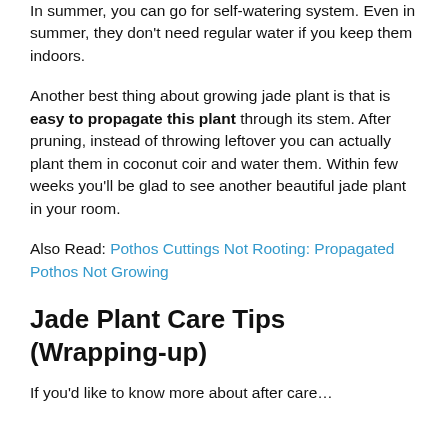In summer, you can go for self-watering system. Even in summer, they don't need regular water if you keep them indoors.
Another best thing about growing jade plant is that is easy to propagate this plant through its stem. After pruning, instead of throwing leftover you can actually plant them in coconut coir and water them. Within few weeks you'll be glad to see another beautiful jade plant in your room.
Also Read: Pothos Cuttings Not Rooting: Propagated Pothos Not Growing
Jade Plant Care Tips (Wrapping-up)
If you'd like to know more about after care…